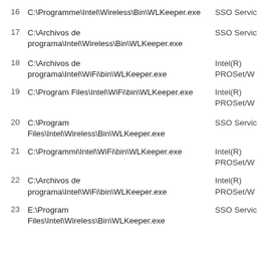16  C:\Programme\Intel\Wireless\Bin\WLKeeper.exe  SSO Servic
17  C:\Archivos de programa\Intel\Wireless\Bin\WLKeeper.exe  SSO Servic
18  C:\Archivos de programa\Intel\WiFi\bin\WLKeeper.exe  Intel(R) PROSet/W
19  C:\Program Files\Intel\WiFi\bin\WLKeeper.exe  Intel(R) PROSet/W
20  C:\Program Files\Intel\Wireless\Bin\WLKeeper.exe  SSO Servic
21  C:\Programmi\Intel\WiFi\bin\WLKeeper.exe  Intel(R) PROSet/W
22  C:\Archivos de programa\Intel\WiFi\bin\WLKeeper.exe  Intel(R) PROSet/W
23  E:\Program Files\Intel\Wireless\Bin\WLKeeper.exe  SSO Servic